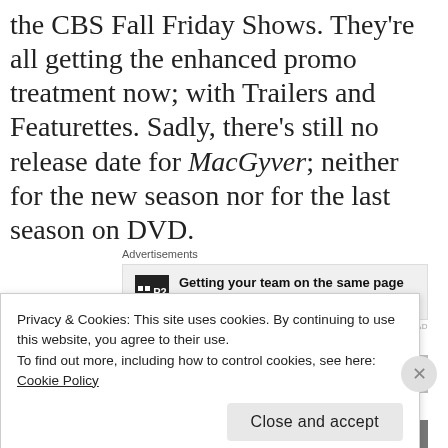the CBS Fall Friday Shows. They're all getting the enhanced promo treatment now; with Trailers and Featurettes. Sadly, there's still no release date for MacGyver; neither for the new season nor for the last season on DVD.
Advertisements
[Figure (other): Advertisement banner for P2 with text: Getting your team on the same page is easy. And free.]
[Figure (photo): Partial image strip visible at bottom of page, partially obscured by cookie banner]
Privacy & Cookies: This site uses cookies. By continuing to use this website, you agree to their use.
To find out more, including how to control cookies, see here:
Cookie Policy
Close and accept